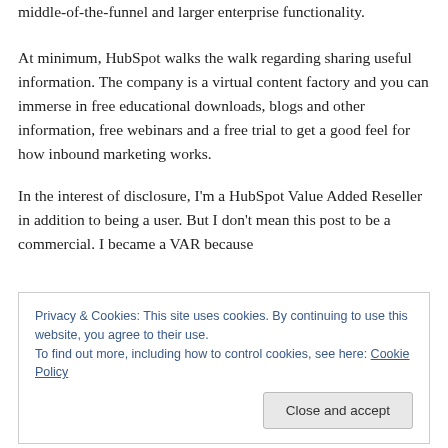middle-of-the-funnel and larger enterprise functionality.
At minimum, HubSpot walks the walk regarding sharing useful information. The company is a virtual content factory and you can immerse in free educational downloads, blogs and other information, free webinars and a free trial to get a good feel for how inbound marketing works.
In the interest of disclosure, I'm a HubSpot Value Added Reseller in addition to being a user. But I don't mean this post to be a commercial. I became a VAR because
Privacy & Cookies: This site uses cookies. By continuing to use this website, you agree to their use.
To find out more, including how to control cookies, see here: Cookie Policy
Close and accept